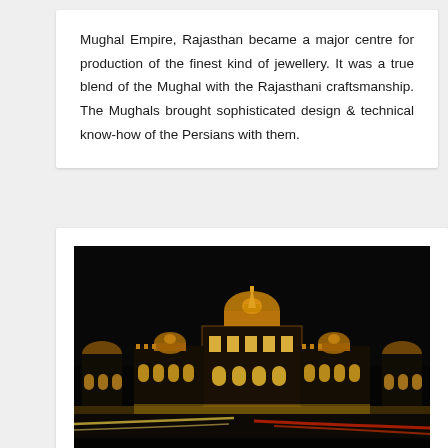Mughal Empire, Rajasthan became a major centre for production of the finest kind of jewellery. It was a true blend of the Mughal with the Rajasthani craftsmanship. The Mughals brought sophisticated design & technical know-how of the Persians with them.
[Figure (photo): Night photograph of an illuminated Rajasthani palace/museum building (Albert Hall Museum, Jaipur) with golden lights against a dark sky, with light trails from traffic in the foreground.]